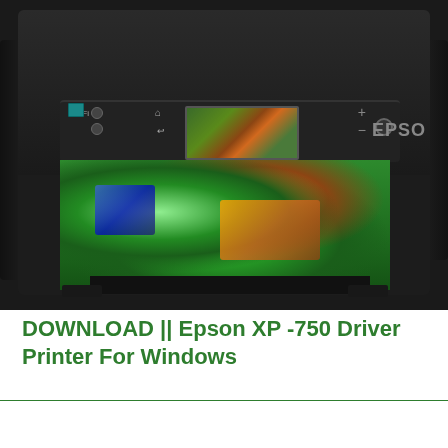[Figure (photo): Epson XP-750 photo printer shown with control panel, LCD screen displaying a frog image, and a printed photo of a frog emerging from the paper tray. EPSON logo visible on the right side.]
DOWNLOAD || Epson XP -750 Driver Printer For Windows
Copyright © 2020
Privacy Policy   Disclaimer   Terms of Use   Contact Us   About